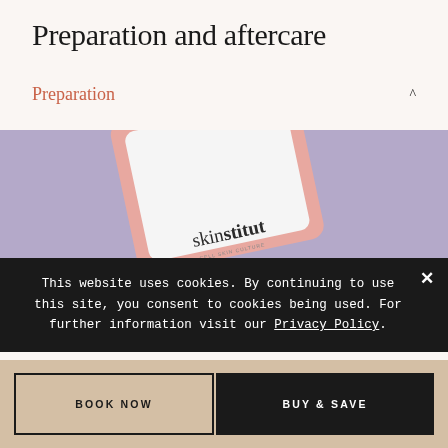Preparation and aftercare
Preparation
[Figure (photo): A Skinstitut product sachet/packet on a purple/lavender background]
This website uses cookies. By continuing to use this site, you consent to cookies being used. For further information visit our Privacy Policy.
BOOK NOW
BUY & SAVE